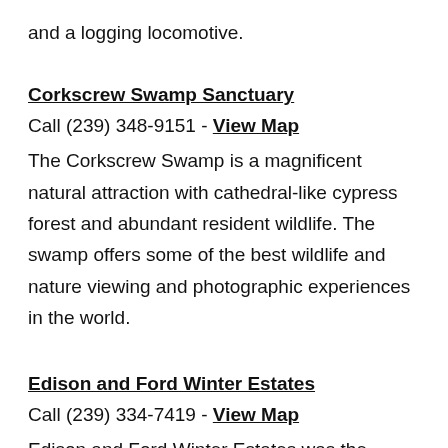and a logging locomotive.
Corkscrew Swamp Sanctuary
Call (239) 348-9151 - View Map
The Corkscrew Swamp is a magnificent natural attraction with cathedral-like cypress forest and abundant resident wildlife. The swamp offers some of the best wildlife and nature viewing and photographic experiences in the world.
Edison and Ford Winter Estates
Call (239) 334-7419 - View Map
Edison and Ford Winter Estates was the winter home